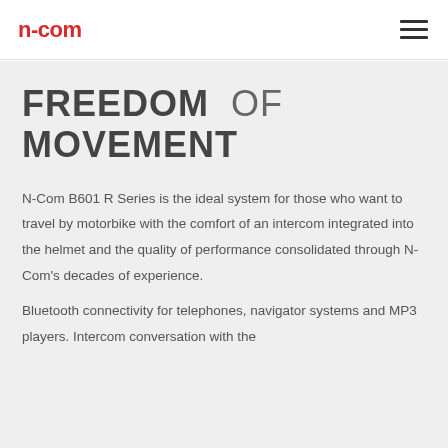n-com
FREEDOM OF MOVEMENT
N-Com B601 R Series is the ideal system for those who want to travel by motorbike with the comfort of an intercom integrated into the helmet and the quality of performance consolidated through N-Com's decades of experience.
Bluetooth connectivity for telephones, navigator systems and MP3 players. Intercom conversation with the